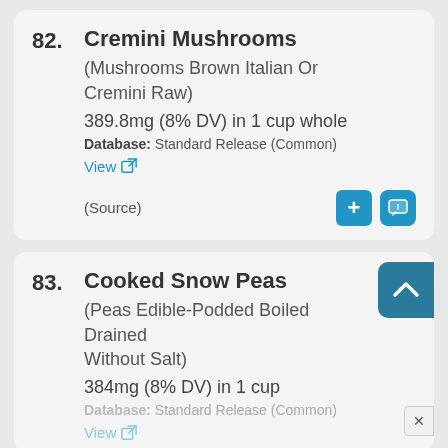82. Cremini Mushrooms (Mushrooms Brown Italian Or Cremini Raw) 389.8mg (8% DV) in 1 cup whole Database: Standard Release (Common) View (Source)
83. Cooked Snow Peas (Peas Edible-Podded Boiled Drained Without Salt) 384mg (8% DV) in 1 cup Database: Standard Release (Common) View